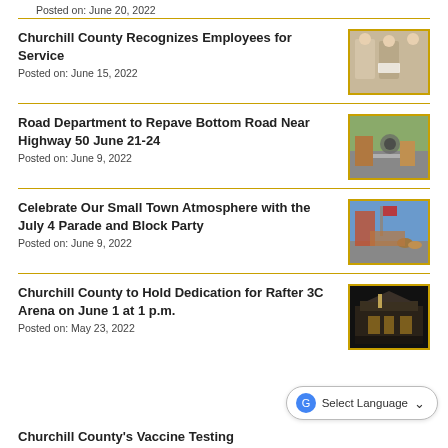Posted on: June 20, 2022
Churchill County Recognizes Employees for Service
Posted on: June 15, 2022
[Figure (photo): Three people standing together, one holding a certificate or award]
Road Department to Repave Bottom Road Near Highway 50 June 21-24
Posted on: June 9, 2022
[Figure (photo): Road construction or repaving scene]
Celebrate Our Small Town Atmosphere with the July 4 Parade and Block Party
Posted on: June 9, 2022
[Figure (photo): Parade scene with horses and flags on a town street]
Churchill County to Hold Dedication for Rafter 3C Arena on June 1 at 1 p.m.
Posted on: May 23, 2022
[Figure (photo): Night view of Rafter 3C Arena building]
Select Language
Churchill County's Vaccine Testing